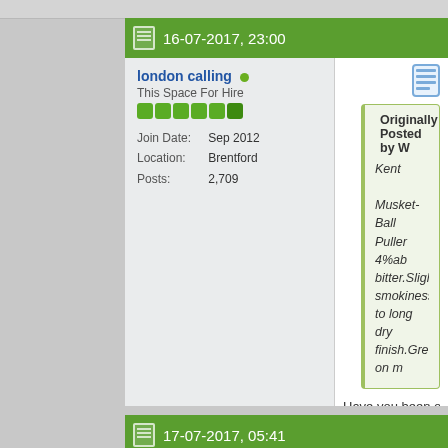16-07-2017, 23:00
london calling
This Space For Hire
Join Date: Sep 2012
Location: Brentford
Posts: 2,709
Originally Posted by W
Kent
Musket-Ball Puller 4%ab bitter.Slight smokiness to long dry finish.Grew on m Gadds' No 7 3.8%abv: G the barrel unfortunately. Old Dairy Summer Top 3 My BOTW-Musket 'Ball M
Have you been on a pub crawl t
17-07-2017, 05:41
Mobyduck
Still about
Originally Posted by lo